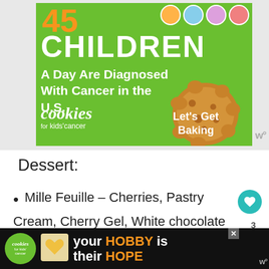[Figure (infographic): Green advertisement banner for Cookies for Kids' Cancer. Shows '45 CHILDREN A Day Are Diagnosed With Cancer in the U.S.' with cookies brand logo and 'Let's Get Baking' text. Cookie image on right side.]
Dessert:
Mille Feuille – Cherries, Pastry Cream, Cherry Gel, White chocolate Crumble OR
[Figure (infographic): Dark background advertisement for Cookies for Kids' Cancer. Shows cookies logo, heart-shaped cookie, and text 'your HOBBY is their HOPE']